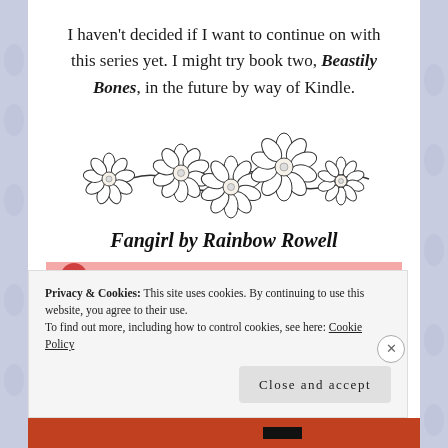I haven't decided if I want to continue on with this series yet. I might try book two, Beastily Bones, in the future by way of Kindle.
[Figure (illustration): A decorative divider of five daisy flowers connected by stems, rendered in black and white sketch style.]
Fangirl by Rainbow Rowell
[Figure (photo): Partial book cover image with pink/salmon background, partially obscured by cookie consent bar.]
Privacy & Cookies: This site uses cookies. By continuing to use this website, you agree to their use. To find out more, including how to control cookies, see here: Cookie Policy
Close and accept